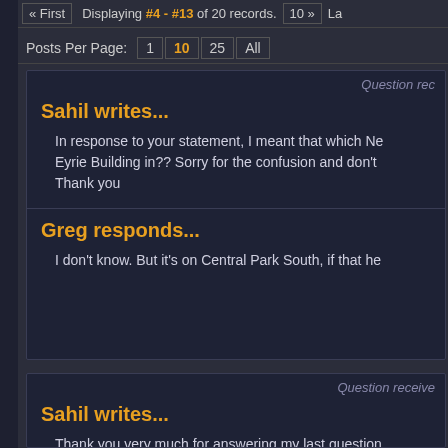« First  Displaying #4 - #13 of 20 records.  10 »  La
Posts Per Page: 1  10  25  All
Question rec
Sahil writes...
In response to your statement, I meant that which Ne Eyrie Building in?? Sorry for the confusion and don't Thank you
Greg responds...
I don't know. But it's on Central Park South, if that he
Question receive
Sahil writes...
Thank you very much for answering my last question Building. Sorry I didn't make that clear before. Don't w though. I know it is a hard one. Thanks very much a